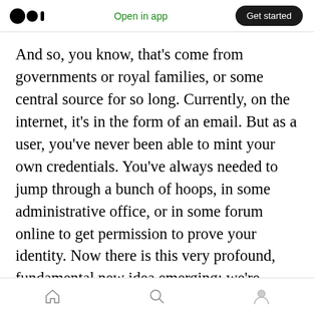Medium app header with logo, Open in app link, and Get started button
And so, you know, that's come from governments or royal families, or some central source for so long. Currently, on the internet, it's in the form of an email. But as a user, you've never been able to mint your own credentials. You've always needed to jump through a bunch of hoops, in some administrative office, or in some forum online to get permission to prove your identity. Now there is this very profound, fundamental new idea emerging: we're getting to a standard in which you could mint your own credentials to prove your identity. It's called self-sovereign identity. It's
Bottom navigation bar with home, search, and profile icons